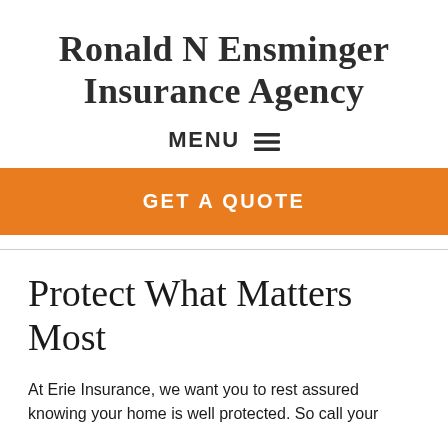Ronald N Ensminger Insurance Agency
MENU ☰
[Figure (other): Orange 'GET A QUOTE' button/banner spanning full width]
Protect What Matters Most
At Erie Insurance, we want you to rest assured knowing your home is well protected. So call your